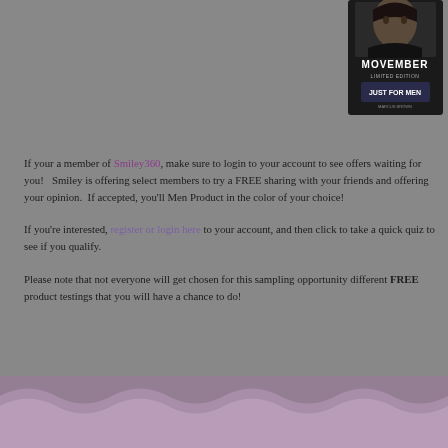[Figure (photo): Product box image showing 'Movember Limited Edition' Just For Men product with a man's photo on the dark packaging]
If your a member of Smiley360, make sure to login to your account to see offers waiting for you!   Smiley is offering select members to try a FREE sharing with your friends and offering your opinion.  If accepted, you'll Men Product in the color of your choice!
If you're interested, register or login here to your account, and then click to take a quick quiz to see if you qualify.
Please note that not everyone will get chosen for this sampling opportunity different FREE product testings that you will have a chance to do!